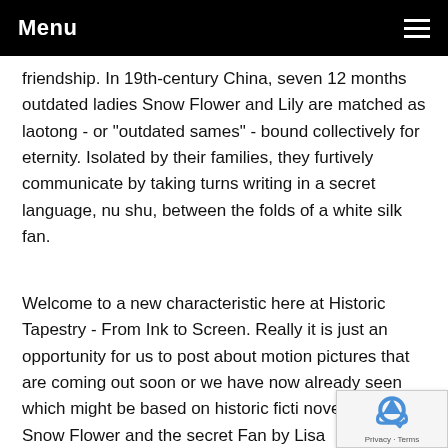Menu
friendship. In 19th-century China, seven 12 months outdated ladies Snow Flower and Lily are matched as laotong - or "outdated sames" - bound collectively for eternity. Isolated by their families, they furtively communicate by taking turns writing in a secret language, nu shu, between the folds of a white silk fan.
Welcome to a new characteristic here at Historic Tapestry - From Ink to Screen. Really it is just an opportunity for us to post about motion pictures that are coming out soon or we have now already seen which might be based on historic ficti novels. First up, Snow Flower and the secret Fan by Lisa